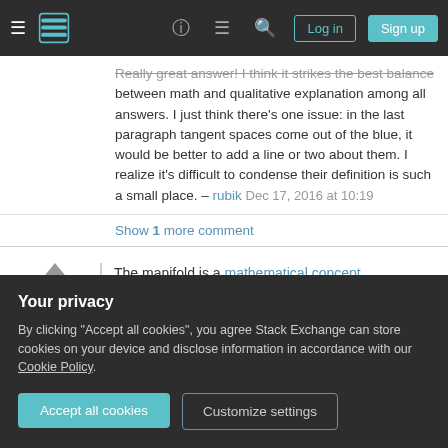Stack Exchange navigation bar with hamburger menu, logo, help, chat, search, Log in, Sign up
Really great answer! I think it strikes the best balance between math and qualitative explanation among all answers. I just think there's one issue: in the last paragraph tangent spaces come out of the blue, it would be better to add a line or two about them. I realize it's difficult to condense their definition is such a small place. – rubik Dec 17, 2016 at 10:19
Show 1 more comment
The manifold is a mathematical concept.
15
In mathematics, a manifold is a topological
Your privacy
By clicking "Accept all cookies", you agree Stack Exchange can store cookies on your device and disclose information in accordance with our Cookie Policy.
Accept all cookies
Customize settings